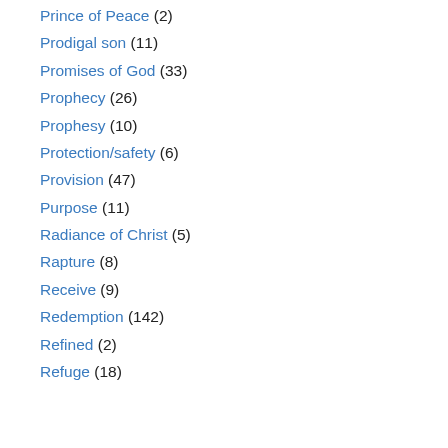Prince of Peace (2)
Prodigal son (11)
Promises of God (33)
Prophecy (26)
Prophesy (10)
Protection/safety (6)
Provision (47)
Purpose (11)
Radiance of Christ (5)
Rapture (8)
Receive (9)
Redemption (142)
Refined (2)
Refuge (18)